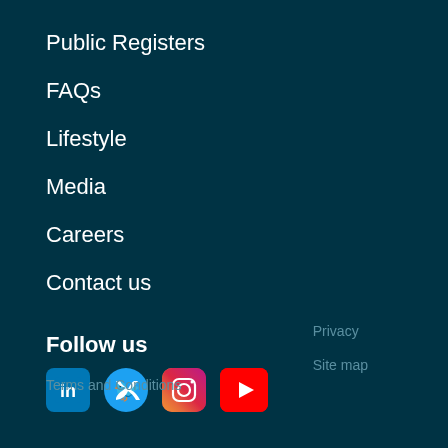Public Registers
FAQs
Lifestyle
Media
Careers
Contact us
Follow us
[Figure (other): Social media icons: LinkedIn, Twitter, Instagram, YouTube]
Terms and Conditions
Privacy
Site map